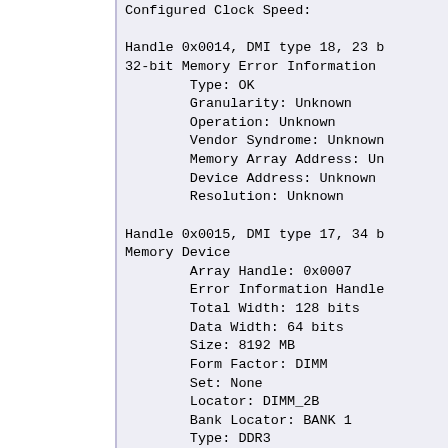Configured Clock Speed:

Handle 0x0014, DMI type 18, 23 b
32-bit Memory Error Information
    Type: OK
    Granularity: Unknown
    Operation: Unknown
    Vendor Syndrome: Unknown
    Memory Array Address: Un
    Device Address: Unknown
    Resolution: Unknown

Handle 0x0015, DMI type 17, 34 b
Memory Device
    Array Handle: 0x0007
    Error Information Handle
    Total Width: 128 bits
    Data Width: 64 bits
    Size: 8192 MB
    Form Factor: DIMM
    Set: None
    Locator: DIMM_2B
    Bank Locator: BANK 1
    Type: DDR3
    Type Detail: Synchronous
    Speed: 1333 MT/s
    Manufacturer: Samsung
    Serial Number: 4420B18B
    Asset Tag: 9876543210
    Part Number: M391B1G73AH
    Rank: 2
    Configured Clock Speed: